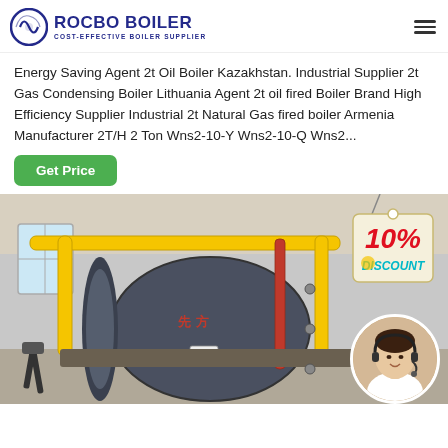ROCBO BOILER — COST-EFFECTIVE BOILER SUPPLIER
Energy Saving Agent 2t Oil Boiler Kazakhstan. Industrial Supplier 2t Gas Condensing Boiler Lithuania Agent 2t oil fired Boiler Brand High Efficiency Supplier Industrial 2t Natural Gas fired boiler Armenia Manufacturer 2T/H 2 Ton Wns2-10-Y Wns2-10-Q Wns2...
[Figure (photo): Industrial gas/oil fired boiler in a factory setting with yellow pipes, with a 10% discount badge overlay and a circular customer service representative photo in the bottom right corner]